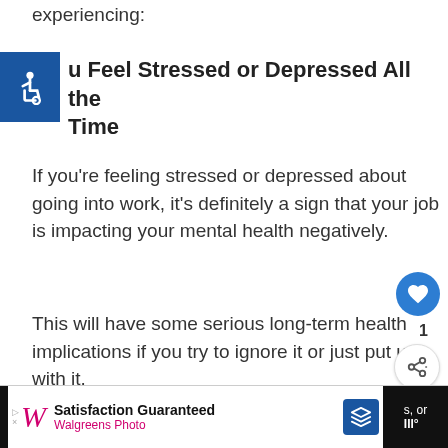experiencing:
You Feel Stressed or Depressed All the Time
If you're feeling stressed or depressed about going into work, it's definitely a sign that your job is impacting your mental health negatively.
This will have some serious long-term health implications if you try to ignore it or just put up with it.
[Figure (other): Accessibility wheelchair icon in blue square]
[Figure (other): Like/heart button (blue circle with heart icon) and share button, with count of 1]
[Figure (other): What's Next panel showing thumbnail and title 'Why Do I Feel Sleepy Arou...']
[Figure (other): Walgreens Photo advertisement banner: Satisfaction Guaranteed, Walgreens Photo]